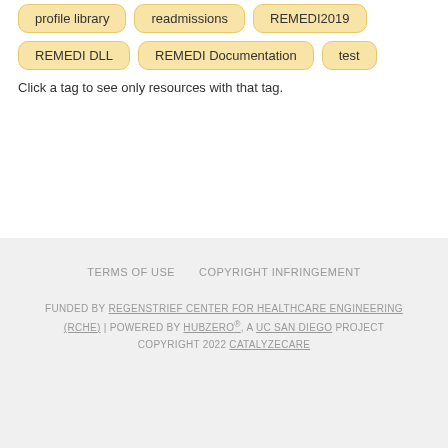profile library
readmissions
REMEDI2019
REMEDI DLL
REMEDI Documentation
test
Click a tag to see only resources with that tag.
TERMS OF USE   COPYRIGHT INFRINGEMENT
FUNDED BY REGENSTRIEF CENTER FOR HEALTHCARE ENGINEERING (RCHE) | POWERED BY HUBZERO®, A UC SAN DIEGO PROJECT
COPYRIGHT 2022 CATALYZECARE